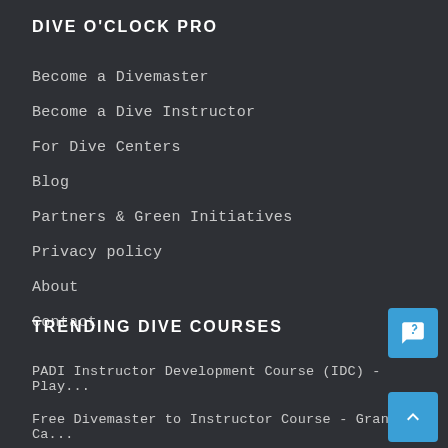DIVE O'CLOCK PRO
Become a Divemaster
Become a Dive Instructor
For Dive Centers
Blog
Partners & Green Initiatives
Privacy policy
About
Contact
TRENDING DIVE COURSES
PADI Instructor Development Course (IDC) - Play...
Free Divemaster to Instructor Course - Grand Ca...
Instructor Development Course (IDC) - Grand Cay...
PADI IDC Gold - Manuel Antonio - Costa Rica